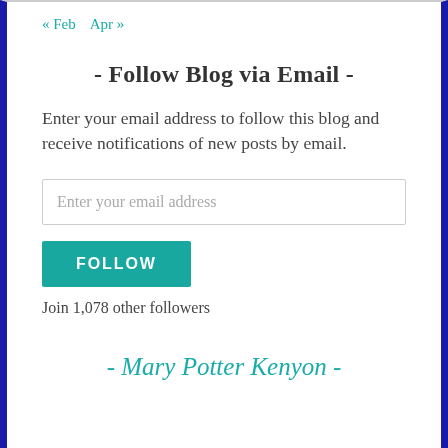« Feb  Apr »
- Follow Blog via Email -
Enter your email address to follow this blog and receive notifications of new posts by email.
Enter your email address
FOLLOW
Join 1,078 other followers
- Mary Potter Kenyon -